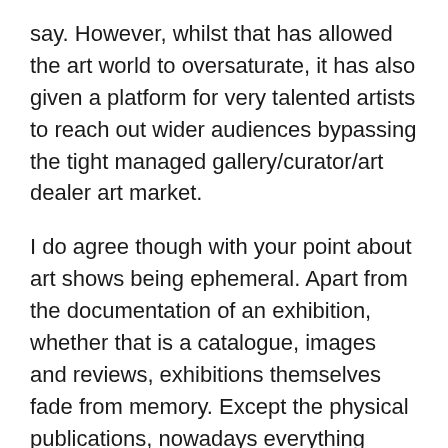say. However, whilst that has allowed the art world to oversaturate, it has also given a platform for very talented artists to reach out wider audiences bypassing the tight managed gallery/curator/art dealer art market.
I do agree though with your point about art shows being ephemeral. Apart from the documentation of an exhibition, whether that is a catalogue, images and reviews, exhibitions themselves fade from memory. Except the physical publications, nowadays everything ends up on the net. It's almost like the net is an enormous archive without locks, where you can find past information and even revive past events. I suppose its also a matter of contemporary relevance, a photo online, a mention, a good review, an interview are things that sustain one active and at the top of the search list, in a system that the turnover of information happens in seconds.